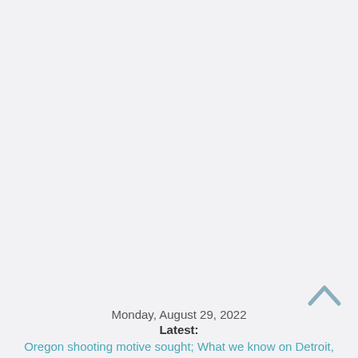Monday, August 29, 2022
Latest:
Oregon shooting motive sought; What we know on Detroit,